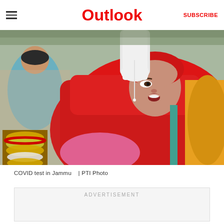Outlook | SUBSCRIBE
[Figure (photo): A woman in a red dupatta with colorful bangles tilts her head back while a gloved healthcare worker administers a COVID nasal swab test. Another woman is visible in the background. Scene is outdoors.]
COVID test in Jammu   | PTI Photo
ADVERTISEMENT